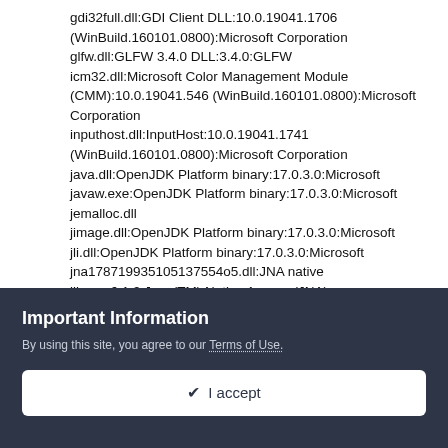gdi32full.dll:GDI Client DLL:10.0.19041.1706 (WinBuild.160101.0800):Microsoft Corporation
glfw.dll:GLFW 3.4.0 DLL:3.4.0:GLFW
icm32.dll:Microsoft Color Management Module (CMM):10.0.19041.546 (WinBuild.160101.0800):Microsoft Corporation
inputhost.dll:InputHost:10.0.19041.1741 (WinBuild.160101.0800):Microsoft Corporation
java.dll:OpenJDK Platform binary:17.0.3.0:Microsoft
javaw.exe:OpenJDK Platform binary:17.0.3.0:Microsoft
jemalloc.dll
jimage.dll:OpenJDK Platform binary:17.0.3.0:Microsoft
jli.dll:OpenJDK Platform binary:17.0.3.0:Microsoft
jna178719935105137554o5.dll:JNA native library:6.1.2:Java(TM) Native Access (JNA)
jsvml.dll:OpenJDK Platform binary:17.0.3.0:Microsoft
Important Information
By using this site, you agree to our Terms of Use.
✔ I accept